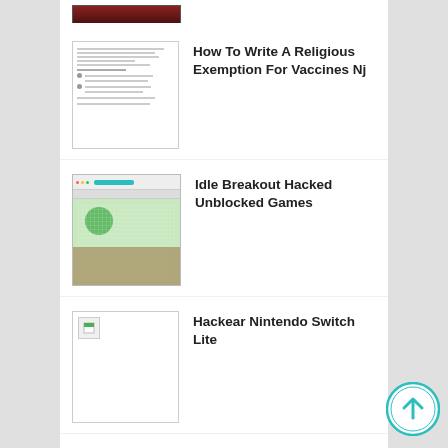[Figure (screenshot): Partial thumbnail image at top, dark reddish]
[Figure (screenshot): Thumbnail of a document with text lines]
How To Write A Religious Exemption For Vaccines Nj
[Figure (screenshot): Thumbnail of Idle Breakout game screenshot]
Idle Breakout Hacked Unblocked Games
[Figure (screenshot): Broken image thumbnail for Hackear Nintendo Switch Lite]
Hackear Nintendo Switch Lite
[Figure (screenshot): Thumbnail of Clicker Heroes game screenshot]
Clicker Heroes Hacked Unblocked No Adobe Flash